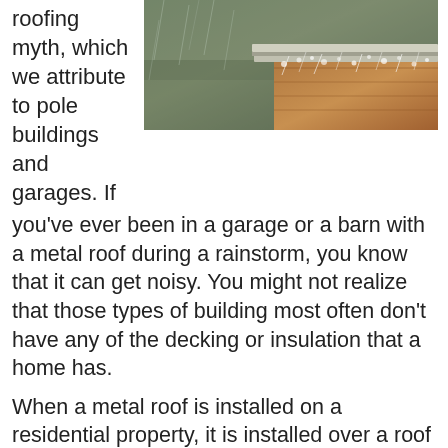roofing myth, which we attribute to pole buildings and garages. If
[Figure (photo): A photo of rain falling heavily near the eave of a wooden barn or cabin with a metal roof, heavy rain and splashing water droplets visible against a grey rainy background.]
you've ever been in a garage or a barn with a metal roof during a rainstorm, you know that it can get noisy. You might not realize that those types of building most often don't have any of the decking or insulation that a home has.
When a metal roof is installed on a residential property, it is installed over a roof deck, insulation, and underlayment. These additional layers dampen the sound of even the most intense rainstorm. A properly installed residential metal roof won't be any louder than